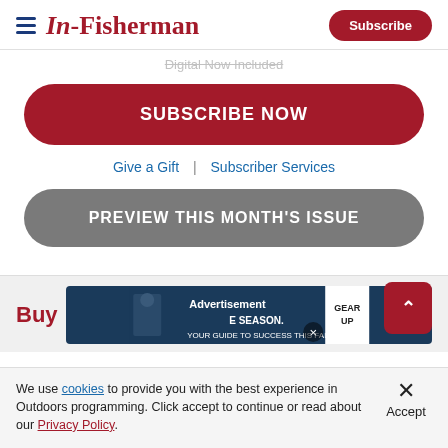In-Fisherman | Subscribe
Digital Now Included
SUBSCRIBE NOW
Give a Gift | Subscriber Services
PREVIEW THIS MONTH'S ISSUE
Buy
[Figure (screenshot): Advertisement banner showing hunting/outdoor season promotion with GEAR UP text and a figure in winter gear]
We use cookies to provide you with the best experience in Outdoors programming. Click accept to continue or read about our Privacy Policy.